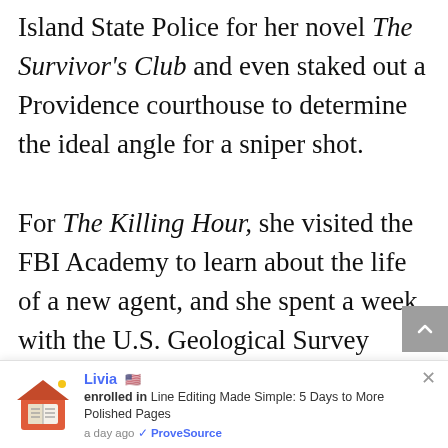Island State Police for her novel The Survivor's Club and even staked out a Providence courthouse to determine the ideal angle for a sniper shot.

For The Killing Hour, she visited the FBI Academy to learn about the life of a new agent, and she spent a week with the U.S. Geological Survey team, checking out remote places in
Livia 🇺🇸 enrolled in Line Editing Made Simple: 5 Days to More Polished Pages a day ago ✅ ProveSource